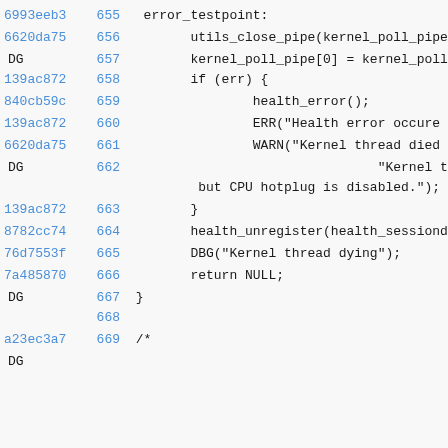Source code diff view with git hashes and line numbers 655-669
6993eeb3 655   error_testpoint:
6620da75 656       utils_close_pipe(kernel_poll_pipe
DG
657       kernel_poll_pipe[0] = kernel_poll
139ac872 658       if (err) {
840cb59c 659               health_error();
139ac872 660               ERR("Health error occure
6620da75 661               WARN("Kernel thread died
DG
662                               "Kernel t
but CPU hotplug is disabled.");
139ac872 663       }
8782cc74 664       health_unregister(health_sessiond
76d7553f 665       DBG("Kernel thread dying");
7a485870 666       return NULL;
DG
667 }
668
a23ec3a7 669 /*
DG